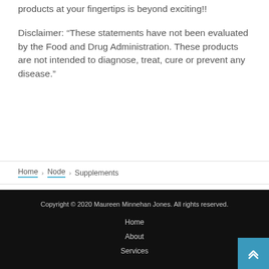products at your fingertips is beyond exciting!!
Disclaimer: “These statements have not been evaluated by the Food and Drug Administration. These products are not intended to diagnose, treat, cure or prevent any disease.”
Home › Node › Supplements
Copyright © 2020 Maureen Minnehan Jones. All rights reserved.
Home
About
Services